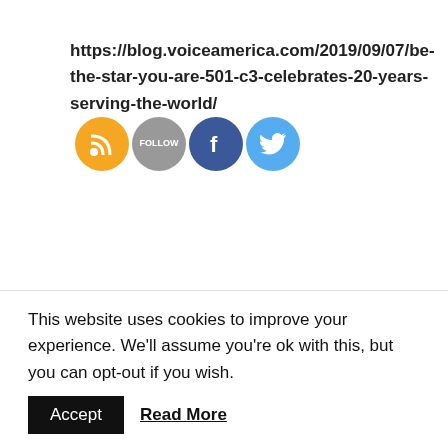https://blog.voiceamerica.com/2019/09/07/be-the-star-you-are-501-c3-celebrates-20-years-serving-the-world/ [social icons: RSS, FOLLOW, Facebook, Twitter]
Read the newspaper article:
https://www.lamorindaweekly.com/archive/issue1314/literacy-nonprofit-celebrates-20-years-of-service.htm
[Figure (photo): Outdoor photo partially visible — green foliage and figures in green costumes, dark roof structure in background]
This website uses cookies to improve your experience. We'll assume you're ok with this, but you can opt-out if you wish.
Accept   Read More